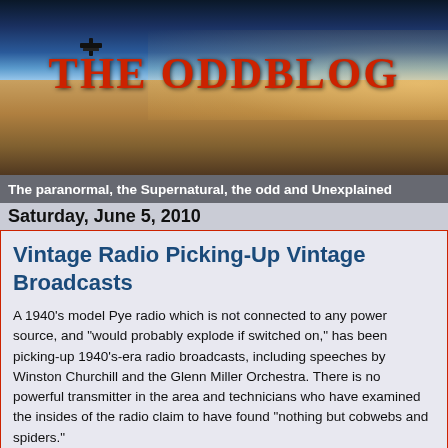[Figure (photo): Space/earth horizon photo used as blog header banner with dark sky, Earth's surface visible at bottom, and satellite silhouette]
THE ODDBLOG
The paranormal, the Supernatural, the odd and Unexplained
Saturday, June 5, 2010
Vintage Radio Picking-Up Vintage Broadcasts
A 1940's model Pye radio which is not connected to any power source, and "would probably explode if switched on," has been picking-up 1940's-era radio broadcasts, including speeches by Winston Churchill and the Glenn Miller Orchestra. There is no powerful transmitter in the area and technicians who have examined the insides of the radio claim to have found "nothing but cobwebs and spiders."
The radio owner...